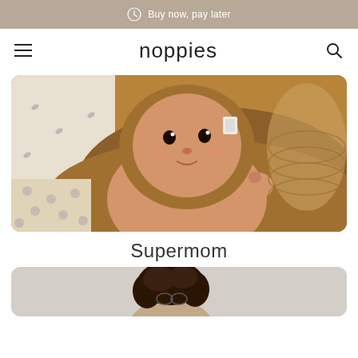Buy now, pay later
noppies
[Figure (photo): Baby wrapped in a brown hooded towel, looking at the camera]
Supermom
[Figure (photo): Woman with curly hair, partially visible, on a light grey background]